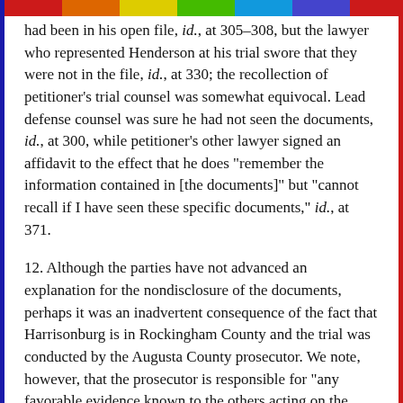had been in his open file, id., at 305–308, but the lawyer who represented Henderson at his trial swore that they were not in the file, id., at 330; the recollection of petitioner's trial counsel was somewhat equivocal. Lead defense counsel was sure he had not seen the documents, id., at 300, while petitioner's other lawyer signed an affidavit to the effect that he does "remember the information contained in [the documents]" but "cannot recall if I have seen these specific documents," id., at 371.
12. Although the parties have not advanced an explanation for the nondisclosure of the documents, perhaps it was an inadvertent consequence of the fact that Harrisonburg is in Rockingham County and the trial was conducted by the Augusta County prosecutor. We note, however, that the prosecutor is responsible for "any favorable evidence known to the others acting on the government's behalf in the case,